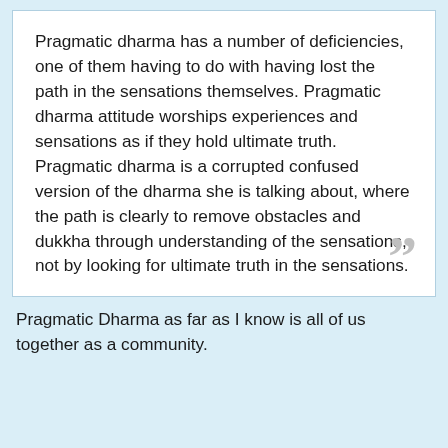Pragmatic dharma has a number of deficiencies, one of them having to do with having lost the path in the sensations themselves. Pragmatic dharma attitude worships experiences and sensations as if they hold ultimate truth. Pragmatic dharma is a corrupted confused version of the dharma she is talking about, where the path is clearly to remove obstacles and dukkha through understanding of the sensations, not by looking for ultimate truth in the sensations.
Pragmatic Dharma as far as I know is all of us together as a community.